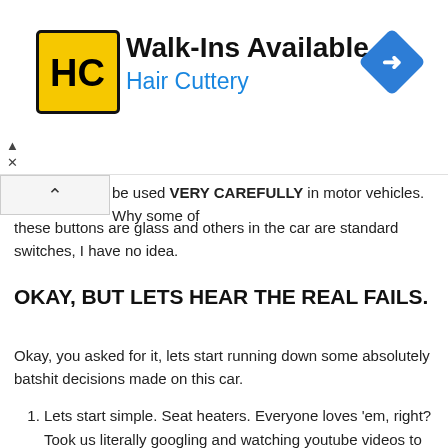[Figure (logo): Hair Cuttery advertisement banner with HC logo in yellow square, text 'Walk-Ins Available' and 'Hair Cuttery' in blue, and a blue navigation diamond icon on the right]
be used VERY CAREFULLY in motor vehicles. Why some of these buttons are glass and others in the car are standard switches, I have no idea.
OKAY, BUT LETS HEAR THE REAL FAILS.
Okay, you asked for it, lets start running down some absolutely batshit decisions made on this car.
Lets start simple. Seat heaters. Everyone loves 'em, right? Took us literally googling and watching youtube videos to figure out how to turn them on. The controls for the seat heaters are tucked under the dash, on either side of the central console. Once I scrunched down in the seat, bent my head to one side, I was able to see them. My